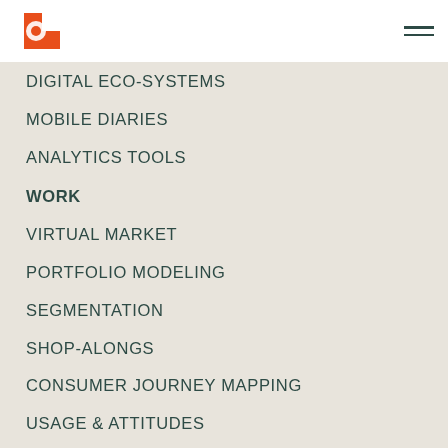Logo and navigation toggle
DIGITAL ECO-SYSTEMS
MOBILE DIARIES
ANALYTICS TOOLS
WORK
VIRTUAL MARKET
PORTFOLIO MODELING
SEGMENTATION
SHOP-ALONGS
CONSUMER JOURNEY MAPPING
USAGE & ATTITUDES